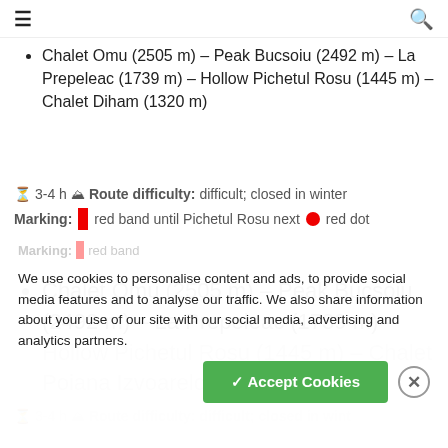≡  🔍
Chalet Omu (2505 m) – Peak Bucsoiu (2492 m) – La Prepeleac (1739 m) – Hollow Pichetul Rosu (1445 m) – Chalet Diham (1320 m)
⌛ 3-4 h 🏔 Route difficulty: difficult; closed in winter
Marking: 🟥 red band until Pichetul Rosu next 🔴 red dot
Chalet Omu (2505 m) – Peak Bucsoiu (2492 m) – La Prepeleac (1739 m) – Hollow Pichetul Rosu (1445 m) – Chalet Poiana Izvoarelor (1455 m)
⌛ 3-4 h 🏔 Route difficulty: difficult; closed in wint...
Marking: 🟥 red band
We use cookies to personalise content and ads, to provide social media features and to analyse our traffic. We also share information about your use of our site with our social media, advertising and analytics partners.
✓ Accept Cookies  ✕